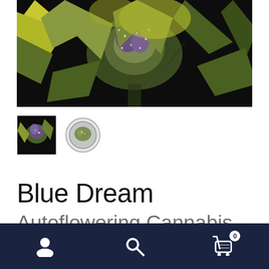[Figure (photo): Close-up macro photo of a cannabis flower/bud with green and yellow leaves covered in trichomes, dark background]
[Figure (photo): Small thumbnail of cannabis bud photo]
[Figure (photo): Small thumbnail of a round tin/container with cannabis product inside]
Blue Dream
Autoflowering Cannabis
Navigation bar with profile, search, and cart (0) icons